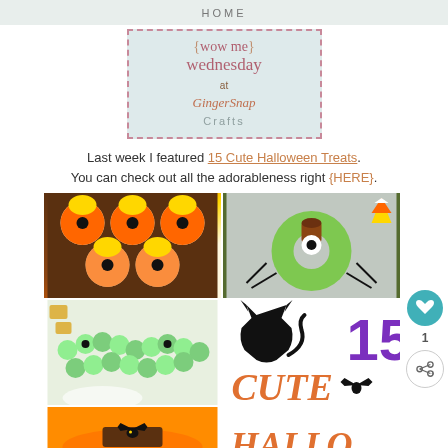HOME
[Figure (logo): Wow Me Wednesday at GingerSnap Crafts logo with dashed border and light teal background]
Last week I featured 15 Cute Halloween Treats. You can check out all the adorableness right {HERE}.
[Figure (photo): Collage of Halloween treat photos including candy corn cookies, monster donuts, grape snake, and 15 Cute Halloween Treats title graphic with black cat and bat]